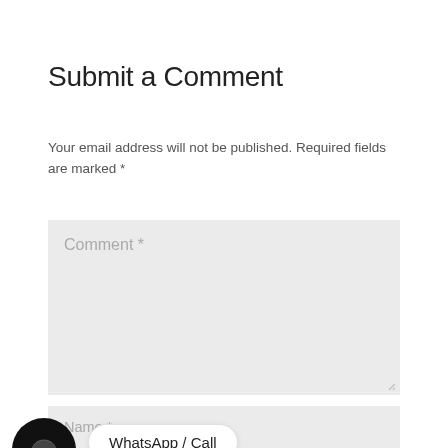Submit a Comment
Your email address will not be published. Required fields are marked *
[Figure (screenshot): Comment text area input field with placeholder text 'Comment *' on grey background]
[Figure (screenshot): Name input field with placeholder text 'Name *' on grey background, with chat widget button (black circle with chat icon) and WhatsApp/Call tooltip overlay]
[Figure (screenshot): Email input field with placeholder text 'Email *' on grey background, partially visible at bottom]